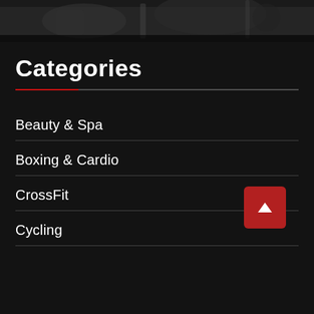[Figure (photo): Dark gym/fitness photo strip at top of page]
Categories
Beauty & Spa
Boxing & Cardio
CrossFit
Cycling